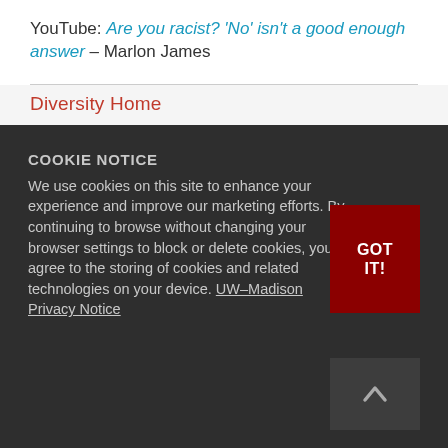YouTube: Are you racist? 'No' isn't a good enough answer – Marlon James
Diversity Home
COOKIE NOTICE
We use cookies on this site to enhance your experience and improve our marketing efforts. By continuing to browse without changing your browser settings to block or delete cookies, you agree to the storing of cookies and related technologies on your device. UW–Madison Privacy Notice
GOT IT!